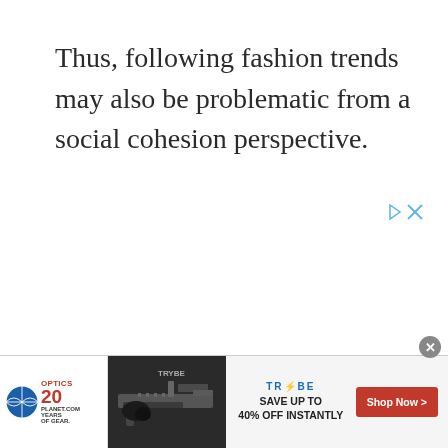Thus, following fashion trends may also be problematic from a social cohesion perspective.
[Figure (other): Adchoices icon with play and close buttons]
[Figure (other): Advertisement banner for Trybe/Optics Planet featuring firearm accessories with text: SAVE UP TO 40% OFF INSTANTLY and Shop Now button]